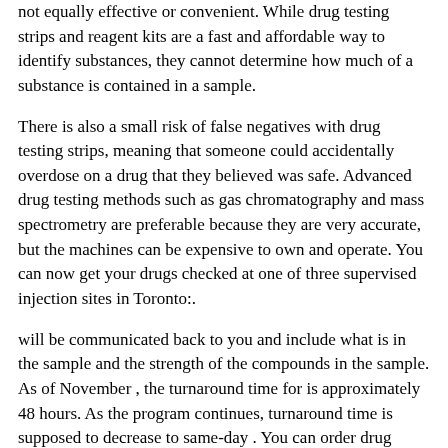not equally effective or convenient. While drug testing strips and reagent kits are a fast and affordable way to identify substances, they cannot determine how much of a substance is contained in a sample.
There is also a small risk of false negatives with drug testing strips, meaning that someone could accidentally overdose on a drug that they believed was safe. Advanced drug testing methods such as gas chromatography and mass spectrometry are preferable because they are very accurate, but the machines can be expensive to own and operate. You can now get your drugs checked at one of three supervised injection sites in Toronto:.
will be communicated back to you and include what is in the sample and the strength of the compounds in the sample. As of November , the turnaround time for is approximately 48 hours. As the program continues, turnaround time is supposed to decrease to same-day . You can order drug testing reagent kits and testing strips online in order to test your drugs at home:. Drug purity test kits from TestKitPlus.
Fentanyl test strips from DanceSafe. This is because it is possible to get false negatives and you may not know what drugs or how much of a drug is in your sample. Drug testing should be paired with other harm reduction strategies, such as not using alone,